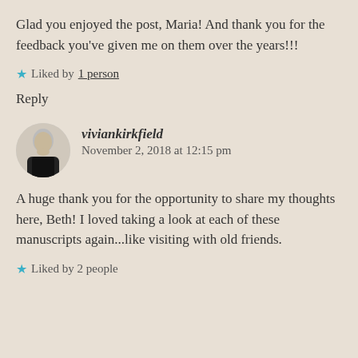Glad you enjoyed the post, Maria! And thank you for the feedback you've given me on them over the years!!!
★ Liked by 1 person
Reply
viviankirkfield   November 2, 2018 at 12:15 pm
A huge thank you for the opportunity to share my thoughts here, Beth! I loved taking a look at each of these manuscripts again...like visiting with old friends.
★ Liked by 2 people